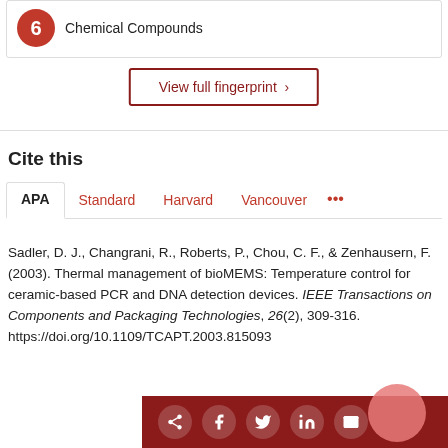[Figure (other): Circular red icon with label 'Chemical Compounds' inside a bordered box]
View full fingerprint >
Cite this
APA | Standard | Harvard | Vancouver | ...
Sadler, D. J., Changrani, R., Roberts, P., Chou, C. F., & Zenhausern, F. (2003). Thermal management of bioMEMS: Temperature control for ceramic-based PCR and DNA detection devices. IEEE Transactions on Components and Packaging Technologies, 26(2), 309-316. https://doi.org/10.1109/TCAPT.2003.815093